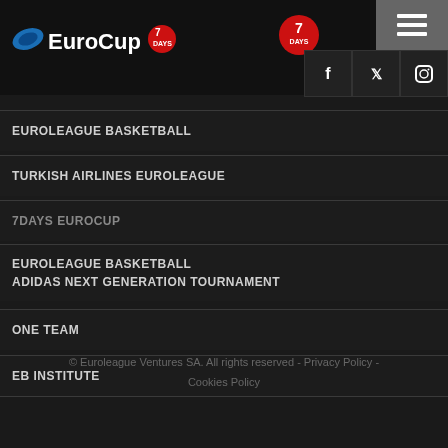[Figure (logo): EuroCup 7DAYS basketball logo in header]
EUROLEAGUE BASKETBALL
TURKISH AIRLINES EUROLEAGUE
7DAYS EUROCUP
EUROLEAGUE BASKETBALL ADIDAS NEXT GENERATION TOURNAMENT
ONE TEAM
EB INSTITUTE
© Euroleague Ventures SA. All rights reserved - Privacy Policy - Cookies Policy